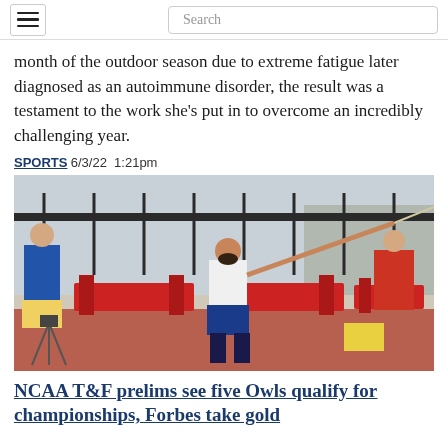[hamburger menu] [Search]
month of the outdoor season due to extreme fatigue later diagnosed as an autoimmune disorder, the result was a testament to the work she’s put in to overcome an incredibly challenging year.
SPORTS 6/3/22 1:21pm
[Figure (photo): An athlete throwing a javelin on a red track, wearing a white Rice University jersey and blue shorts, with red benches and a fence in the background.]
NCAA T&F prelims see five Owls qualify for championships, Forbes take gold